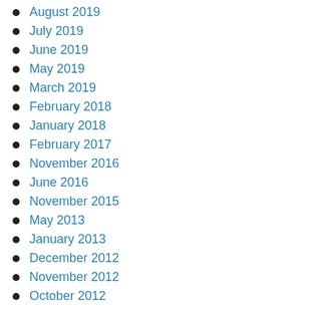August 2019
July 2019
June 2019
May 2019
March 2019
February 2018
January 2018
February 2017
November 2016
June 2016
November 2015
May 2013
January 2013
December 2012
November 2012
October 2012